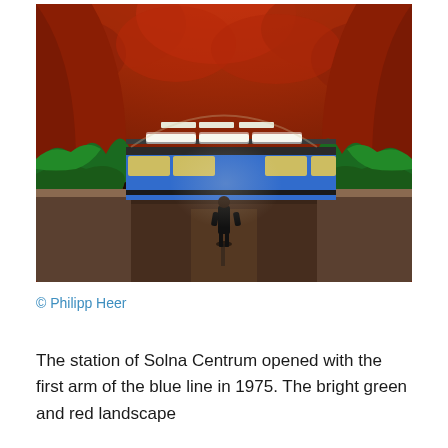[Figure (photo): Interior of Solna Centrum metro station in Stockholm. The cave-like ceiling and walls are painted vivid red/orange with dramatic texture. Green painted vegetation flanks the lower walls. A lone person in dark clothing stands on the platform. A blue metro train passes in the background with fluorescent lighting illuminating the platform.]
© Philipp Heer
The station of Solna Centrum opened with the first arm of the blue line in 1975. The bright green and red landscape